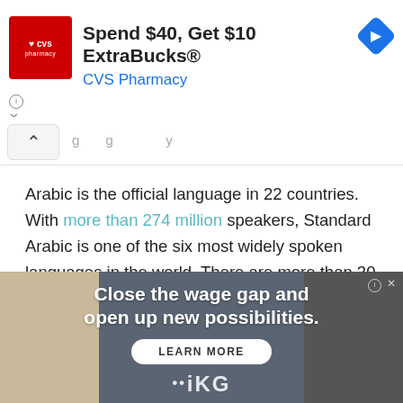[Figure (screenshot): CVS Pharmacy advertisement banner: red CVS logo on left, text 'Spend $40, Get $10 ExtraBucks® CVS Pharmacy' in center, blue navigation diamond icon on right, info and X icons below left]
Arabic is the official language in 22 countries. With more than 274 million speakers, Standard Arabic is one of the six most widely spoken languages in the world. There are more than 30 different variants and hundreds of regional dialects. This results in a large variety of extraordinary and unique names.
[Figure (screenshot): Advertisement with two people (one male on left, one female on right) against a grey-gold background, text reads 'Close the wage gap and open up new possibilities.' with a LEARN MORE button and iKG logo below]